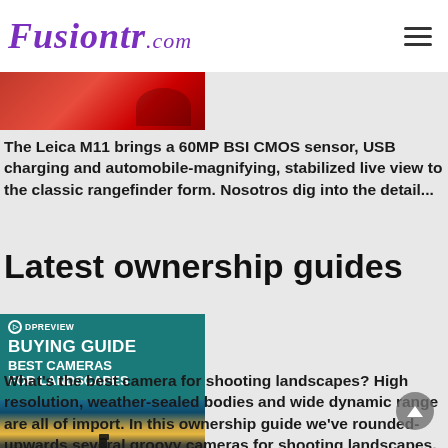Fusiontr.com
[Figure (photo): Red image strip/photo partial view at top left]
The Leica M11 brings a 60MP BSI CMOS sensor, USB charging and automobile-magnifying, stabilized live view to the classic rangefinder form. Nosotros dig into the detail...
Latest ownership guides
[Figure (photo): DPREVIEW Buying Guide - Best Cameras for Landscapes promotional image with teal header and landscape background photo]
What's the best camera for shooting landscapes? High resolution, weather-sealed bodies and wide dynamic range are all of import. In this ownership guide we've rounded-upwards several groovy cameras for shooting landscapes, and